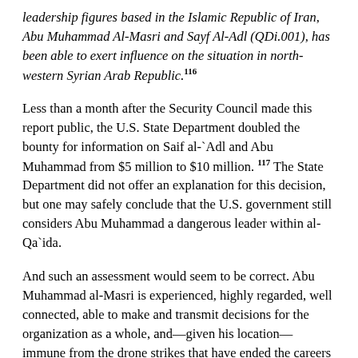leadership figures based in the Islamic Republic of Iran, Abu Muhammad Al-Masri and Sayf Al-Adl (QDi.001), has been able to exert influence on the situation in north-western Syrian Arab Republic.116
Less than a month after the Security Council made this report public, the U.S. State Department doubled the bounty for information on Saif al-`Adl and Abu Muhammad from $5 million to $10 million.117 The State Department did not offer an explanation for this decision, but one may safely conclude that the U.S. government still considers Abu Muhammad a dangerous leader within al-Qa`ida.
And such an assessment would seem to be correct. Abu Muhammad al-Masri is experienced, highly regarded, well connected, able to make and transmit decisions for the organization as a whole, and—given his location—immune from the drone strikes that have ended the careers of many other senior commanders. Moreover, as a close associate of bin Ladin since the founding of al-Qa`ida, he is better